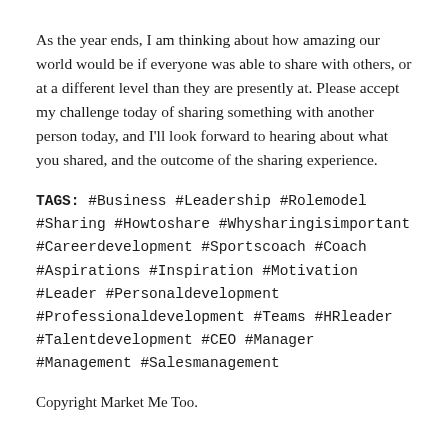As the year ends, I am thinking about how amazing our world would be if everyone was able to share with others, or at a different level than they are presently at. Please accept my challenge today of sharing something with another person today, and I'll look forward to hearing about what you shared, and the outcome of the sharing experience.
TAGS: #Business #Leadership #Rolemodel #Sharing #Howtoshare #Whysharingisimportant #Careerdevelopment #Sportscoach #Coach #Aspirations #Inspiration #Motivation #Leader #Personaldevelopment #Professionaldevelopment #Teams #HRleader #Talentdevelopment #CEO #Manager #Management #Salesmanagement
Copyright Market Me Too.